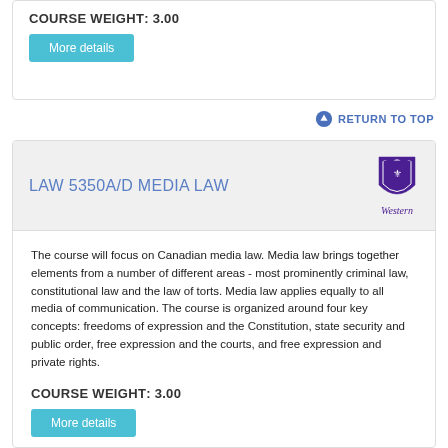COURSE WEIGHT: 3.00
More details
RETURN TO TOP
LAW 5350A/D MEDIA LAW
The course will focus on Canadian media law. Media law brings together elements from a number of different areas - most prominently criminal law, constitutional law and the law of torts. Media law applies equally to all media of communication. The course is organized around four key concepts: freedoms of expression and the Constitution, state security and public order, free expression and the courts, and free expression and private rights.
COURSE WEIGHT: 3.00
More details